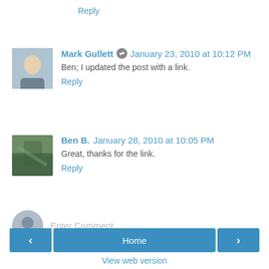Reply
Mark Gullett  January 23, 2010 at 10:12 PM
Ben; I updated the post with a link.
Reply
Ben B.  January 28, 2010 at 10:05 PM
Great, thanks for the link.
Reply
Enter Comment
Home
View web version